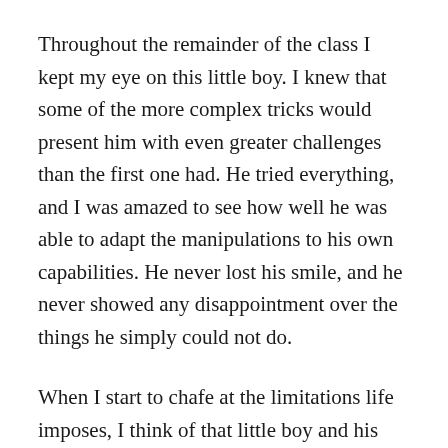Throughout the remainder of the class I kept my eye on this little boy. I knew that some of the more complex tricks would present him with even greater challenges than the first one had. He tried everything, and I was amazed to see how well he was able to adapt the manipulations to his own capabilities. He never lost his smile, and he never showed any disappointment over the things he simply could not do.
When I start to chafe at the limitations life imposes, I think of that little boy and his indomitable enthusiasm. I never learned his name, but I'll never forget him.